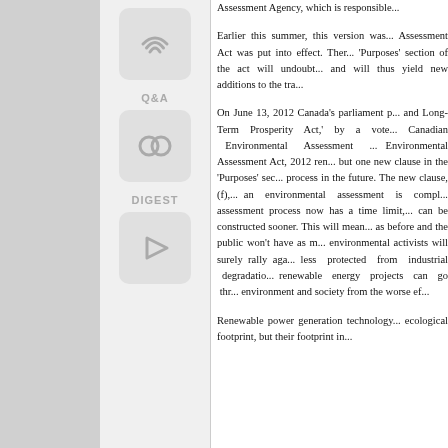[Figure (other): Navigation icon with wifi/signal waves symbol]
Q&A
[Figure (other): Navigation icon with Last.fm scrobble symbol (overlapping circles)]
DIGEST
[Figure (other): Navigation icon with forward/play arrow symbol]
Assessment Agency, which is responsible...
Earlier this summer, this version was... Assessment Act was put into effect. The 'Purposes' section of the act will undoubtedly and will thus yield new additions to the tra...
On June 13, 2012 Canada's parliament p... and Long-Term Prosperity Act,' by a vote... Canadian Environmental Assessment... Environmental Assessment Act, 2012 re... but one new clause in the 'Purposes' sec... process in the future. The new clause, (f),... an environmental assessment is compl... assessment process now has a time limit,... can be constructed sooner. This will mean... as before and the public won't have as m... environmental activists will surely rally aga... less protected from industrial degradatio... renewable energy projects can go thr... environment and society from the worse ef...
Renewable power generation technology... ecological footprint, but their footprint in...